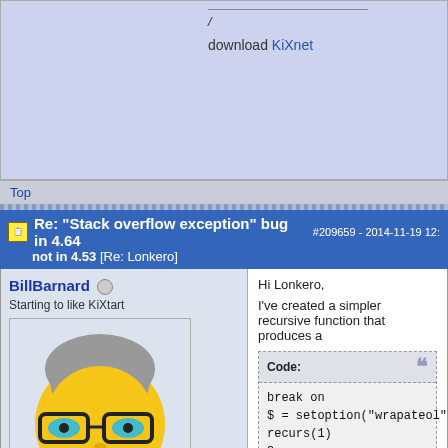/
download KiXnet
Top
Re: "Stack overflow exception" bug in 4.64 not in 4.53 [Re: Lonkero] #209659 - 2014-11-19 12:...
BillBarnard
Starting to like KiXtart
Registered: 2007-03-14
Posts: 141
Loc: Leighton Buzzard, Bedfordshire...
Hi Lonkero,
I've created a simpler recursive function that produces a
Code:
break on
$ = setoption("wrapateol","on")
recurs(1)
?
return
function recurs($i)
If $i<100000
    $i " "
    recurs($i+1)
endif
endfunction
Kix 464 bombs out at 2116 whilst 453 bombs at 8356.
So this older version seems to have 4 times more stack
460, 461 both bomb out at 23768
462, 463 at 2169
So I think versions 460 and 461 had a lot more going f...